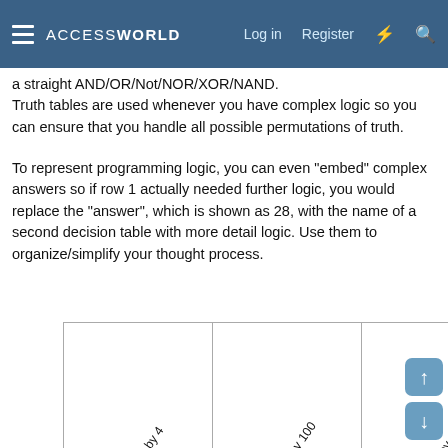ACCESSWORLD — Log in | Register
a straight AND/OR/Not/NOR/XOR/NAND.
Truth tables are used whenever you have complex logic so you can ensure that you handle all possible permutations of truth.
To represent programming logic, you can even "embed" complex answers so if row 1 actually needed further logic, you would replace the "answer", which is shown as 28, with the name of a second decision table with more detail logic. Use them to organize/simplify your thought process.
|  | Year Divisible by 4 | Year divisible by 100 | Year Divisible by 400 | Num of days in Feb |
| --- | --- | --- | --- | --- |
| 0 | - | - | 28 |
| 1 | 0 | - | 29 |